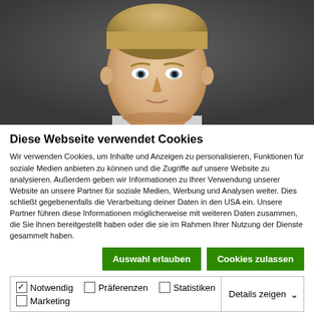[Figure (photo): Headshot of a young blond man against a dark grey background, cropped at shoulders]
Diese Webseite verwendet Cookies
Wir verwenden Cookies, um Inhalte und Anzeigen zu personalisieren, Funktionen für soziale Medien anbieten zu können und die Zugriffe auf unsere Website zu analysieren. Außerdem geben wir Informationen zu Ihrer Verwendung unserer Website an unsere Partner für soziale Medien, Werbung und Analysen weiter. Dies schließt gegebenenfalls die Verarbeitung deiner Daten in den USA ein. Unsere Partner führen diese Informationen möglicherweise mit weiteren Daten zusammen, die Sie ihnen bereitgestellt haben oder die sie im Rahmen Ihrer Nutzung der Dienste gesammelt haben.
Auswahl erlauben | Cookies zulassen
✓ Notwendig  □ Präferenzen  □ Statistiken  □ Marketing  Details zeigen